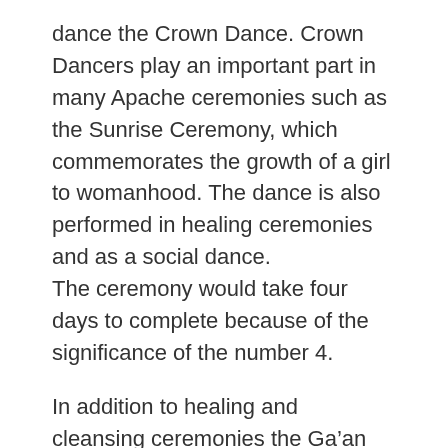dance the Crown Dance. Crown Dancers play an important part in many Apache ceremonies such as the Sunrise Ceremony, which commemorates the growth of a girl to womanhood. The dance is also performed in healing ceremonies and as a social dance. The ceremony would take four days to complete because of the significance of the number 4.
In addition to healing and cleansing ceremonies the Ga’an dancers are instrumental in preparing the grounds for the coming-of-age ceremony for young Apache girls just coming into womanhood. Women also had a major role in the lifestyle of the Apache people from participating